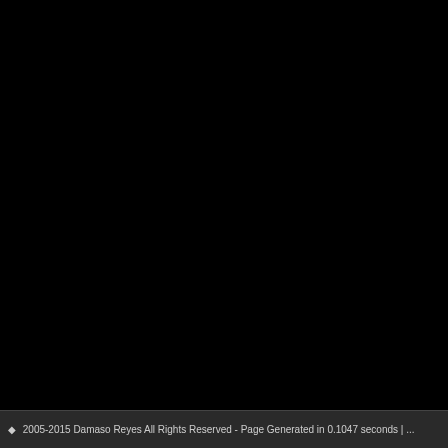◆ 2005-2015 Damaso Reyes All Rights Reserved - Page Generated in 0.1047 seconds | ...